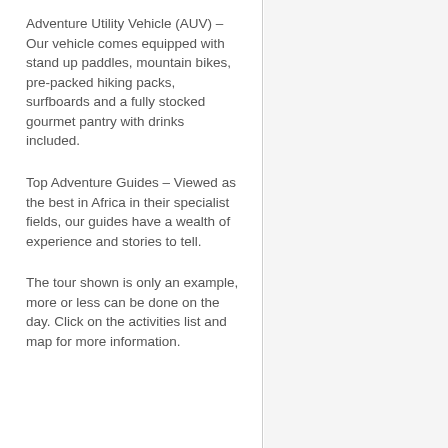Adventure Utility Vehicle (AUV) – Our vehicle comes equipped with stand up paddles, mountain bikes, pre-packed hiking packs, surfboards and a fully stocked gourmet pantry with drinks included.
Top Adventure Guides – Viewed as the best in Africa in their specialist fields, our guides have a wealth of experience and stories to tell.
The tour shown is only an example, more or less can be done on the day. Click on the activities list and map for more information.